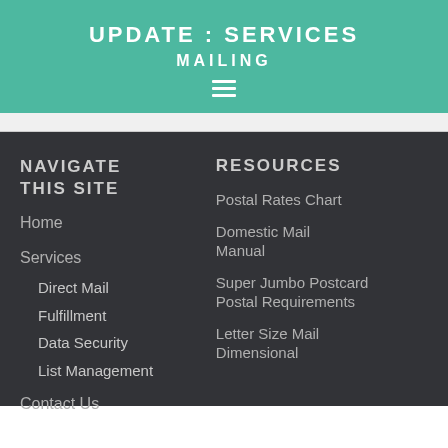UPDATE : SERVICES MAILING
NAVIGATE THIS SITE
Home
Services
Direct Mail
Fulfillment
Data Security
List Management
Contact Us
RESOURCES
Postal Rates Chart
Domestic Mail Manual
Super Jumbo Postcard Postal Requirements
Letter Size Mail Dimensional